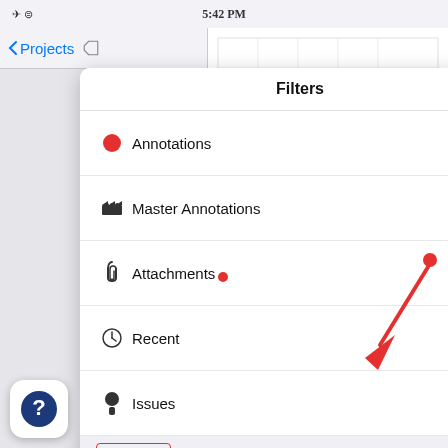[Figure (screenshot): iOS iPad app screenshot showing a Filters popover panel over a blueprint background. The panel lists: Annotations (26), Master Annotations (15), Attachments (5), Recent (31), Issues (15), then a MY TAGS section header highlighted with a red border, followed by tag rows: electric (0) and room 4 (2). A red arrow points down-right toward the electric row toggle. A red dot appears to the right of the Issues row. A help button (dark blue circle with white question mark) is in the bottom-left corner. The top navigation shows Projects back button and National History Museum title with status bar showing 5:42 PM.]